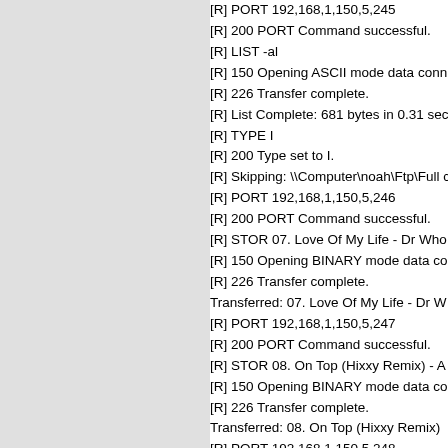[R] PORT 192,168,1,150,5,245
[R] 200 PORT Command successful.
[R] LIST -al
[R] 150 Opening ASCII mode data conn
[R] 226 Transfer complete.
[R] List Complete: 681 bytes in 0.31 sec
[R] TYPE I
[R] 200 Type set to I.
[R] Skipping: \\Computer\noah\Ftp\Full c
[R] PORT 192,168,1,150,5,246
[R] 200 PORT Command successful.
[R] STOR 07. Love Of My Life - Dr Who
[R] 150 Opening BINARY mode data co
[R] 226 Transfer complete.
Transferred: 07. Love Of My Life - Dr W
[R] PORT 192,168,1,150,5,247
[R] 200 PORT Command successful.
[R] STOR 08. On Top (Hixxy Remix) - A
[R] 150 Opening BINARY mode data co
[R] 226 Transfer complete.
Transferred: 08. On Top (Hixxy Remix)
[R] PORT 192,168,1,150,5,248